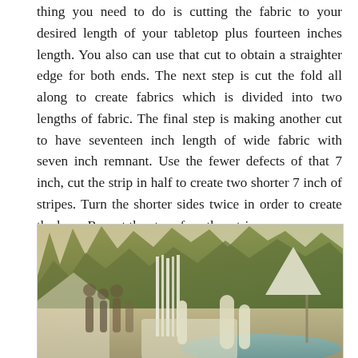thing you need to do is cutting the fabric to your desired length of your tabletop plus fourteen inches length. You also can use that cut to obtain a straighter edge for both ends. The next step is cut the fold all along to create fabrics which is divided into two lengths of fabric. The final step is making another cut to have seventeen inch length of wide fabric with seven inch remnant. Use the fewer defects of that 7 inch, cut the strip in half to create two shorter 7 inch of stripes. Turn the shorter sides twice in order to create the hem. Repeat the steps for other strips.
[Figure (photo): Outdoor garden party scene with tables, decorative strips/bunting, people, trees, pool, and patio umbrellas in warm afternoon light.]